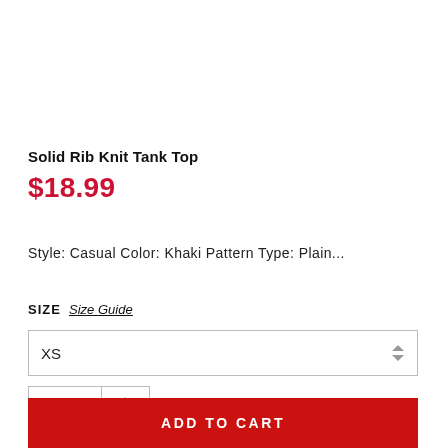Solid Rib Knit Tank Top
$18.99
Style: Casual Color: Khaki Pattern Type: Plain...
SIZE  Size Guide
XS
1
ADD TO CART